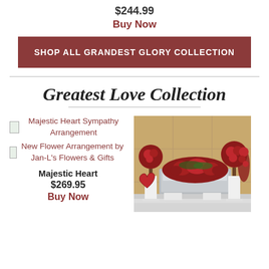$244.99
Buy Now
SHOP ALL GRANDEST GLORY COLLECTION
Greatest Love Collection
[Figure (photo): Majestic Heart Sympathy Arrangement product photo showing a casket spray with red roses and heart-shaped floral arrangements in a funeral home setting]
Majestic Heart Sympathy Arrangement
New Flower Arrangement by Jan-L's Flowers & Gifts
Majestic Heart
$269.95
Buy Now